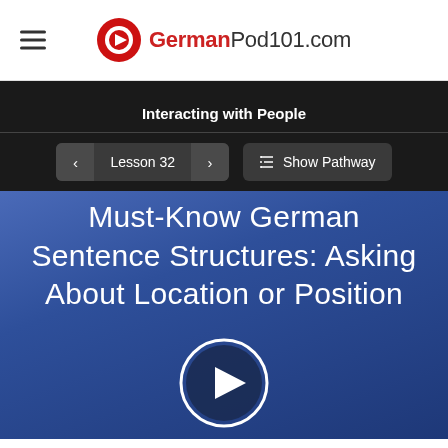GermanPod101.com
Interacting with People
Lesson 32 | Show Pathway
Must-Know German Sentence Structures: Asking About Location or Position
[Figure (illustration): Play button circle icon for video lesson]